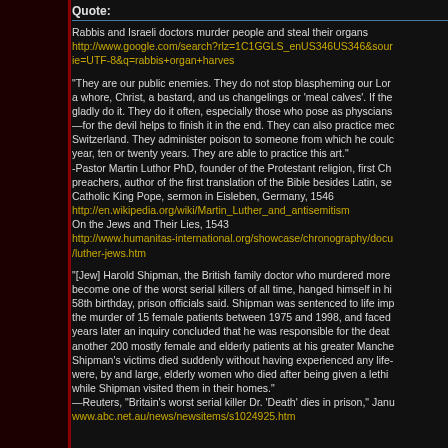Quote:
Rabbis and Israeli doctors murder people and steal their organs
http://www.google.com/search?rlz=1C1GGLS_enUS346US346&sour
ie=UTF-8&q=rabbis+organ+harves
"They are our public enemies. They do not stop blaspheming our Lor
a whore, Christ, a bastard, and us changelings or 'meal calves'. If the
gladly do it. They do it often, especially those who pose as physcians
—for the devil helps to finish it in the end. They can also practice mec
Switzerland. They administer poison to someone from which he coulc
year, ten or twenty years. They are able to practice this art."
-Pastor Martin Luthor PhD, founder of the Protestant religion, first Ch
preachers, author of the first translation of the Bible besides Latin, se
Catholic King Pope, sermon in Eisleben, Germany, 1546
http://en.wikipedia.org/wiki/Martin_Luther_and_antisemitism
On the Jews and Their Lies, 1543
http://www.humanitas-international.org/showcase/chronography/docu
/luther-jews.htm
"[Jew] Harold Shipman, the British family doctor who murdered more
become one of the worst serial killers of all time, hanged himself in hi
58th birthday, prison officials said. Shipman was sentenced to life imp
the murder of 15 female patients between 1975 and 1998, and faced
years later an inquiry concluded that he was responsible for the deat
another 200 mostly female and elderly patients at his greater Manche
Shipman's victims died suddenly without having experienced any life-
were, by and large, elderly women who died after being given a lethi
while Shipman visited them in their homes."
—Reuters, "Britain's worst serial killer Dr. 'Death' dies in prison," Janu
www.abc.net.au/news/newsitems/s1024925.htm